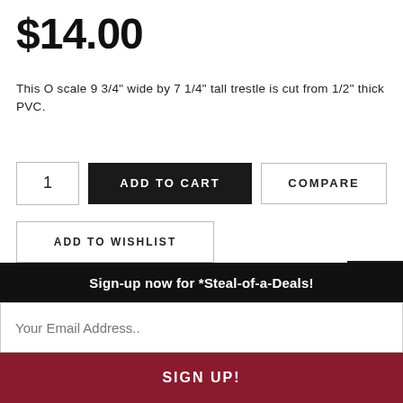$14.00
This O scale 9 3/4" wide by 7 1/4" tall trestle is cut from 1/2" thick PVC.
1 | ADD TO CART | COMPARE
ADD TO WISHLIST
SKU: TWY-5015
Sign-up now for *Steal-of-a-Deals!
Your Email Address..
SIGN UP!